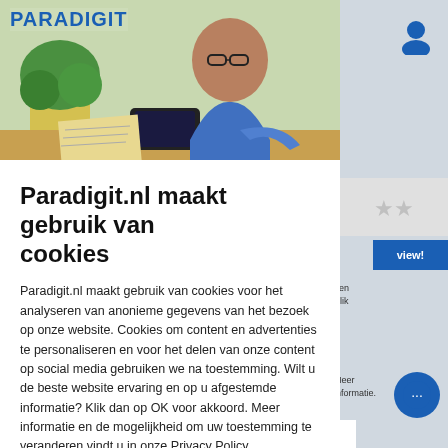[Figure (screenshot): Paradigit.nl website screenshot showing header with logo and hero image of man with glasses working at desk with plant and phone, with right sidebar showing user icon, star rating, review button, and chat button]
Paradigit.nl maakt gebruik van cookies
Paradigit.nl maakt gebruik van cookies voor het analyseren van anonieme gegevens van het bezoek op onze website. Cookies om content en advertenties te personaliseren en voor het delen van onze content op social media gebruiken we na toestemming. Wilt u de beste website ervaring en op u afgestemde informatie? Klik dan op OK voor akkoord. Meer informatie en de mogelijkheid om uw toestemming te veranderen vindt u in onze Privacy Policy.
OK